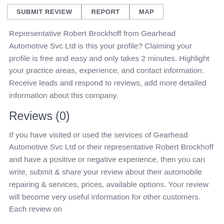[Figure (screenshot): Three buttons in a row: SUBMIT REVIEW, REPORT, MAP — outlined rectangle buttons with gray borders]
Representative Robert Brockhoff from Gearhead Automotive Svc Ltd is this your profile? Claiming your profile is free and easy and only takes 2 minutes. Highlight your practice areas, experience, and contact information. Receive leads and respond to reviews, add more detailed information about this company.
Reviews (0)
If you have visited or used the services of Gearhead Automotive Svc Ltd or their representative Robert Brockhoff and have a positive or negative experience, then you can write, submit & share your review about their automobile repairing & services, prices, available options. Your review will become very useful information for other customers. Each review on